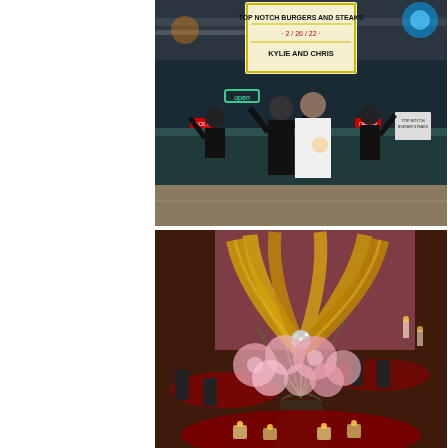[Figure (photo): Wedding photo at Top Notch Burgers and Steaks restaurant. A couple (bride in white dress, groom in black) celebrating with staff raising hands, marquee sign reading 'TOP NOTCH BURGERS AND STEAKS · 2/26/22 · KYLIE AND CHRIS', neon 'open' sign visible in dark industrial interior.]
[Figure (photo): Wedding reception centerpiece close-up: tall floral arrangement with gold dried palm leaves, pink baby's breath flowers, and a small disco ball, on a dark red round table with tea light candles, in a warmly lit event venue with more tables in background.]
[Figure (infographic): White footer bar with two icons: an envelope/email icon on the left and an Instagram camera icon on the right.]